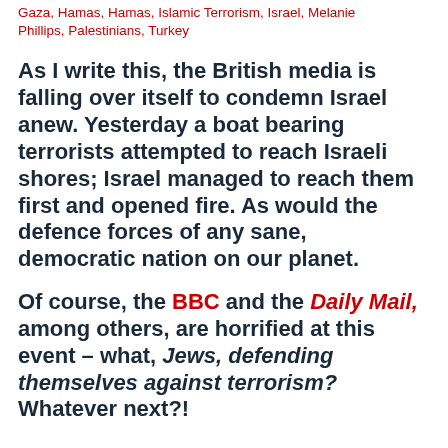Gaza, Hamas, Hamas, Islamic Terrorism, Israel, Melanie Phillips, Palestinians, Turkey
As I write this, the British media is falling over itself to condemn Israel anew. Yesterday a boat bearing terrorists attempted to reach Israeli shores; Israel managed to reach them first and opened fire. As would the defence forces of any sane, democratic nation on our planet.
Of course, the BBC and the Daily Mail, among others, are horrified at this event – what, Jews, defending themselves against terrorism? Whatever next?!